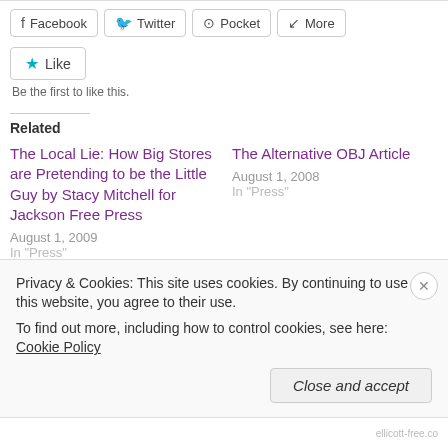Facebook  Twitter  Pocket  More
Like — Be the first to like this.
Related
The Local Lie: How Big Stores are Pretending to be the Little Guy by Stacy Mitchell for Jackson Free Press
August 1, 2009
In "Press"
The Alternative OBJ Article
August 1, 2008
In "Press"
RECIPE: Strawberry, Kale &
Privacy & Cookies: This site uses cookies. By continuing to use this website, you agree to their use.
To find out more, including how to control cookies, see here: Cookie Policy
Close and accept